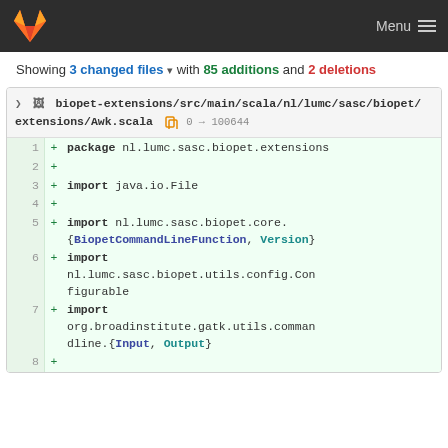GitLab Menu
Showing 3 changed files with 85 additions and 2 deletions
biopet-extensions/src/main/scala/nl/lumc/sasc/biopet/extensions/Awk.scala  0 → 100644
1 + package nl.lumc.sasc.biopet.extensions
2 +
3 + import java.io.File
4 +
5 + import nl.lumc.sasc.biopet.core.{BiopetCommandLineFunction, Version}
6 + import nl.lumc.sasc.biopet.utils.config.Configurable
7 + import org.broadinstitute.gatk.utils.commandline.{Input, Output}
8 +